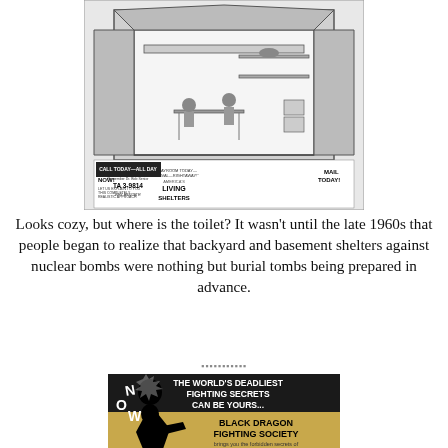[Figure (illustration): Vintage advertisement for 'America's Living Shelters' showing a cutaway illustration of a family in an underground fallout shelter, with text 'ACT NOW!', 'CALL TODAY—ALL DAY TA 3-9814', 'AMERICA'S LIVING SHELTERS', 'MAIL TODAY!']
Looks cozy, but where is the toilet? It wasn't until the late 1960s that people began to realize that backyard and basement shelters against nuclear bombs were nothing but burial tombs being prepared in advance.
[Figure (illustration): Vintage advertisement for 'Black Dragon Fighting Society' showing a silhouetted martial artist with text 'NOW THE WORLD'S DEADLIEST FIGHTING SECRETS CAN BE YOURS... BLACK DRAGON FIGHTING SOCIETY brings you the forbidden secrets of...']